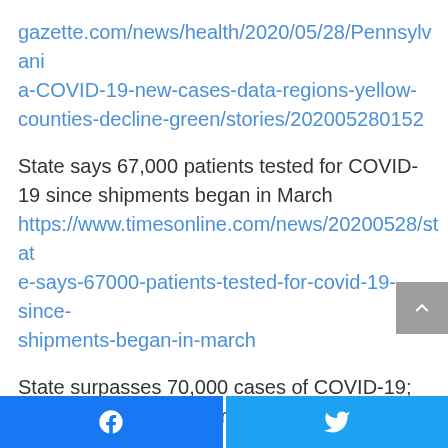gazette.com/news/health/2020/05/28/Pennsylvania-COVID-19-new-cases-data-regions-yellow-counties-decline-green/stories/202005280152
State says 67,000 patients tested for COVID-19 since shipments began in March https://www.timesonline.com/news/20200528/state-says-67000-patients-tested-for-covid-19-since-shipments-began-in-march
State surpasses 70,000 cases of COVID-19; Allegheny County reports 0 new deaths https://www.post-gazette.com/news/health/2020/05/28/COVID-19-